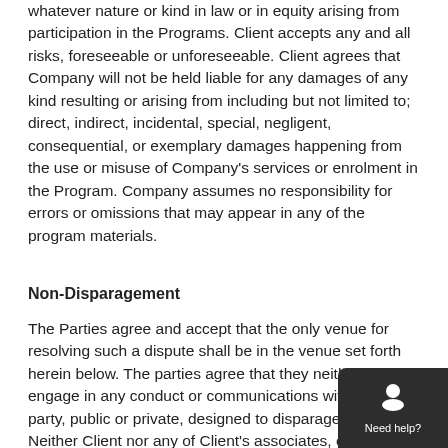whatever nature or kind in law or in equity arising from participation in the Programs. Client accepts any and all risks, foreseeable or unforeseeable. Client agrees that Company will not be held liable for any damages of any kind resulting or arising from including but not limited to; direct, indirect, incidental, special, negligent, consequential, or exemplary damages happening from the use or misuse of Company's services or enrolment in the Program. Company assumes no responsibility for errors or omissions that may appear in any of the program materials.
Non-Disparagement
The Parties agree and accept that the only venue for resolving such a dispute shall be in the venue set forth herein below. The parties agree that they neither will engage in any conduct or communications with a third party, public or private, designed to disparage the other. Neither Client nor any of Client's associates, employees or affiliates will directly or indirectly, in any capacity or manner, make, express, transmit speak, write, verbally otherwise communicate in any way (or cause, further,